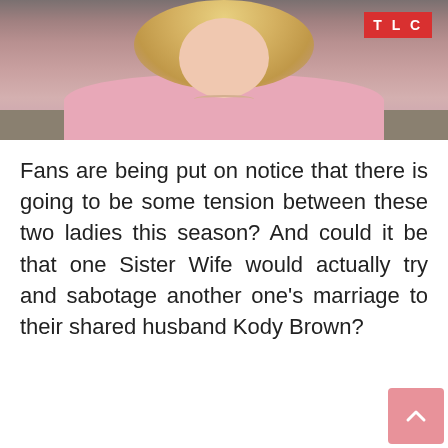[Figure (photo): A woman with blonde hair wearing a pink outfit, sitting down. TLC logo visible in the top right corner of the image.]
Fans are being put on notice that there is going to be some tension between these two ladies this season? And could it be that one Sister Wife would actually try and sabotage another one's marriage to their shared husband Kody Brown?